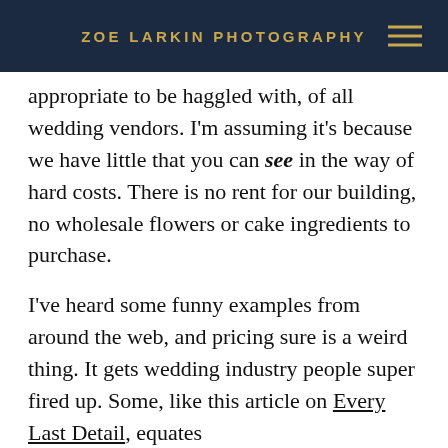ZOE LARKIN PHOTOGRAPHY
appropriate to be haggled with, of all wedding vendors. I'm assuming it's because we have little that you can see in the way of hard costs. There is no rent for our building, no wholesale flowers or cake ingredients to purchase.
I've heard some funny examples from around the web, and pricing sure is a weird thing. It gets wedding industry people super fired up. Some, like this article on Every Last Detail, equates